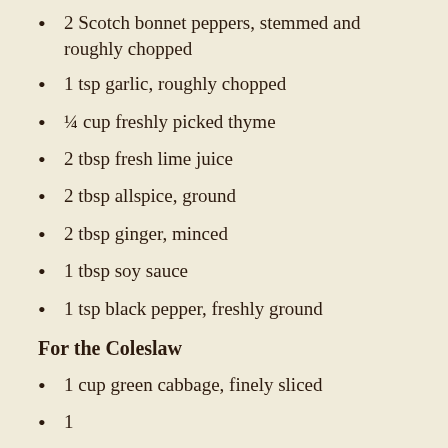2 Scotch bonnet peppers, stemmed and roughly chopped
1 tsp garlic, roughly chopped
¼ cup freshly picked thyme
2 tbsp fresh lime juice
2 tbsp allspice, ground
2 tbsp ginger, minced
1 tbsp soy sauce
1 tsp black pepper, freshly ground
For the Coleslaw
1 cup green cabbage, finely sliced
1 ...